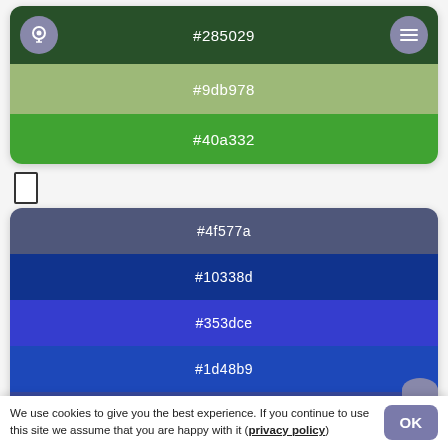[Figure (infographic): Green color palette card showing three color strips: #285029 (dark green), #9db978 (light sage green), #40a332 (bright green). Has a lightbulb icon circle on top left and hamburger menu circle on top right.]
[Figure (other): Small empty checkbox rectangle]
[Figure (infographic): Blue color palette card showing five color strips: #4f577a (slate blue-grey), #10338d (dark navy blue), #353dce (bright blue-violet), #1d48b9 (medium blue), #38499d (muted blue)]
We use cookies to give you the best experience. If you continue to use this site we assume that you are happy with it (privacy policy)